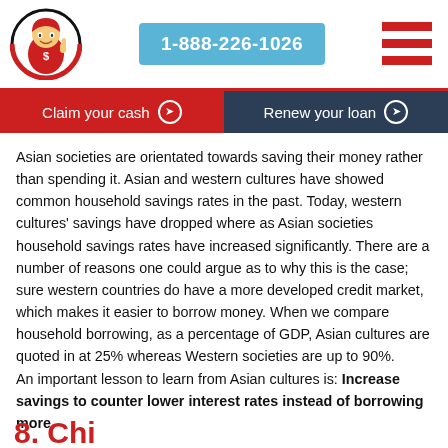[Figure (logo): Company mascot logo: cartoon character in red superhero costume with dollar sign, inside a circle with red/black border]
1-888-226-1026
[Figure (illustration): Hamburger menu icon: three horizontal red bars]
Claim your cash ❯
Renew your loan ❯
Asian societies are orientated towards saving their money rather than spending it. Asian and western cultures have showed common household savings rates in the past. Today, western cultures' savings have dropped where as Asian societies household savings rates have increased significantly. There are a number of reasons one could argue as to why this is the case; sure western countries do have a more developed credit market, which makes it easier to borrow money. When we compare household borrowing, as a percentage of GDP, Asian cultures are quoted in at 25% whereas Western societies are up to 90%.
An important lesson to learn from Asian cultures is: Increase savings to counter lower interest rates instead of borrowing more.
8. Chi...